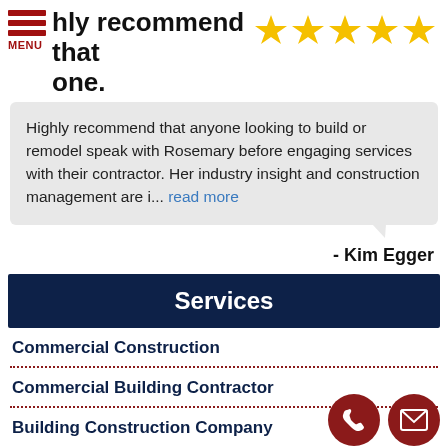MENU
hly recommend that one.
[Figure (other): Five gold star rating icons]
Highly recommend that anyone looking to build or remodel speak with Rosemary before engaging services with their contractor. Her industry insight and construction management are i... read more
- Kim Egger
Services
Commercial Construction
Commercial Building Contractor
Building Construction Company